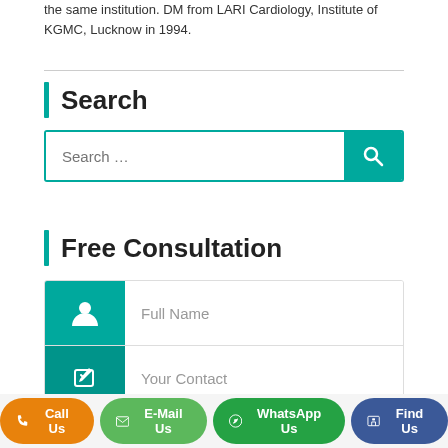the same institution. DM from LARI Cardiology, Institute of KGMC, Lucknow in 1994.
Search
Search ...
Free Consultation
Full Name
Your Contact
Email Address
Call Us  E-Mail Us  WhatsApp Us  Find Us